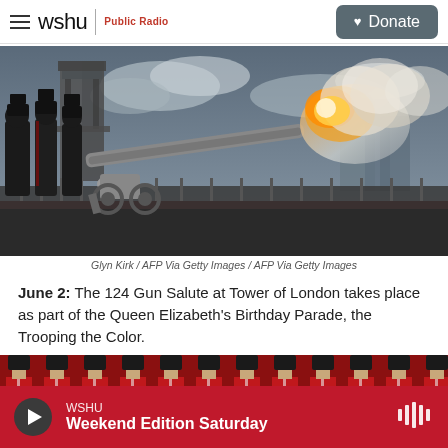wshu Public Radio | Donate
[Figure (photo): A cannon firing with flame and smoke at Tower of London, with Tower Bridge visible in the background. Soldiers in military uniform stand to the left. The scene depicts the 124 Gun Salute ceremony.]
Glyn Kirk / AFP Via Getty Images / AFP Via Getty Images
June 2: The 124 Gun Salute at Tower of London takes place as part of the Queen Elizabeth's Birthday Parade, the Trooping the Color.
[Figure (photo): Partial view of rows of soldiers in red ceremonial uniforms with tall black bearskin hats, seen from behind.]
WSHU | Weekend Edition Saturday